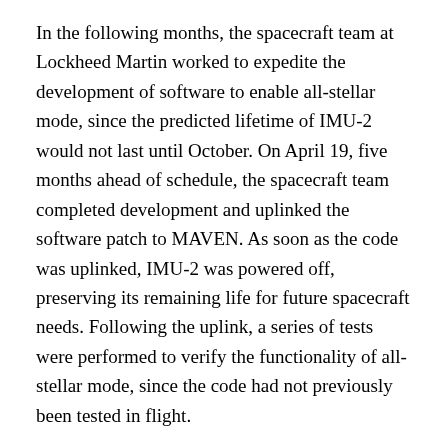In the following months, the spacecraft team at Lockheed Martin worked to expedite the development of software to enable all-stellar mode, since the predicted lifetime of IMU-2 would not last until October. On April 19, five months ahead of schedule, the spacecraft team completed development and uplinked the software patch to MAVEN. As soon as the code was uplinked, IMU-2 was powered off, preserving its remaining life for future spacecraft needs. Following the uplink, a series of tests were performed to verify the functionality of all-stellar mode, since the code had not previously been tested in flight.
“The team really stepped up to an existential threat,” said Rich Burns, the MAVEN project manager at NASA’s Goddard Space Flight Center in Greenbelt, Maryland. “When we recognized in the fall that IMU-2 was degrading, we knew we were going to have to shorten the schedule for all-stellar mode. The spacecraft team